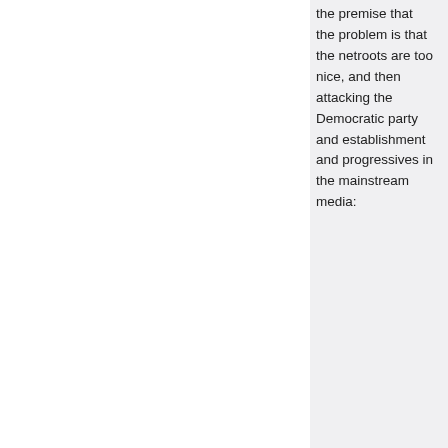the premise that the problem is that the netroots are too nice, and then attacking the Democratic party and establishment and progressives in the mainstream media:
They rarely show us any support, but they always